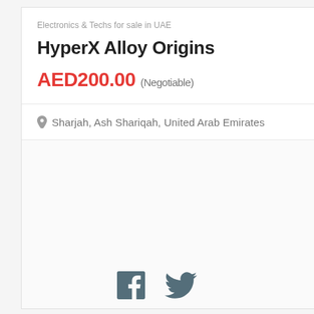Electronics & Techs for sale in UAE
HyperX Alloy Origins
AED200.00 (Negotiable)
Sharjah, Ash Shariqah, United Arab Emirates
[Figure (illustration): Facebook and Twitter social media icons at the bottom of the page]